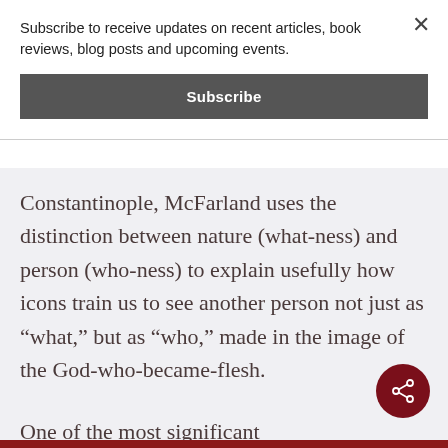Subscribe to receive updates on recent articles, book reviews, blog posts and upcoming events.
Subscribe
Constantinople, McFarland uses the distinction between nature (what-ness) and person (who-ness) to explain usefully how icons train us to see another person not just as “what,” but as “who,” made in the image of the God-who-became-flesh.
One of the most significant